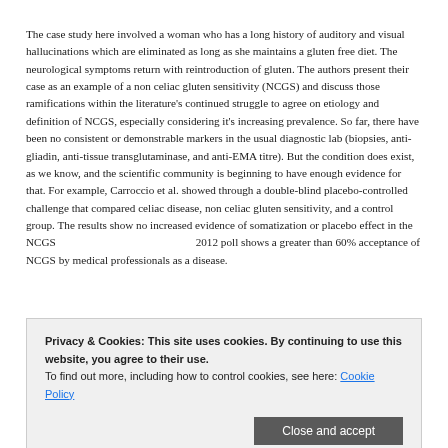The case study here involved a woman who has a long history of auditory and visual hallucinations which are eliminated as long as she maintains a gluten free diet. The neurological symptoms return with reintroduction of gluten. The authors present their case as an example of a non celiac gluten sensitivity (NCGS) and discuss those ramifications within the literature's continued struggle to agree on etiology and definition of NCGS, especially considering it's increasing prevalence. So far, there have been no consistent or demonstrable markers in the usual diagnostic lab (biopsies, anti-gliadin, anti-tissue transglutaminase, and anti-EMA titre). But the condition does exist, as we know, and the scientific community is beginning to have enough evidence for that. For example, Carroccio et al. showed through a double-blind placebo-controlled challenge that compared celiac disease, non celiac gluten sensitivity, and a control group. The results show no increased evidence of somatization or placebo effect in the NCGS group. Also, a 2012 poll shows a greater than 60% acceptance of NCGS by medical professionals as a disease.
Privacy & Cookies: This site uses cookies. By continuing to use this website, you agree to their use. To find out more, including how to control cookies, see here: Cookie Policy
Close and accept